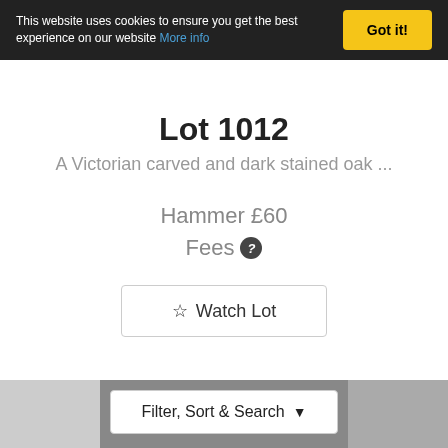This website uses cookies to ensure you get the best experience on our website More info | Got it!
Lot 1012
A Victorian carved and dark stained oak ...
Hammer £60
Fees ?
☆ Watch Lot
Filter, Sort & Search